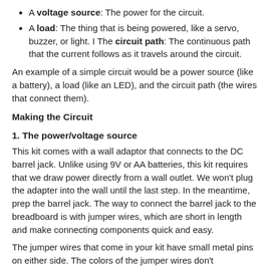A voltage source: The power for the circuit.
A load: The thing that is being powered, like a servo, buzzer, or light. I The circuit path: The continuous path that the current follows as it travels around the circuit.
An example of a simple circuit would be a power source (like a battery), a load (like an LED), and the circuit path (the wires that connect them).
Making the Circuit
1. The power/voltage source
This kit comes with a wall adaptor that connects to the DC barrel jack. Unlike using 9V or AA batteries, this kit requires that we draw power directly from a wall outlet. We won't plug the adapter into the wall until the last step. In the meantime, prep the barrel jack. The way to connect the barrel jack to the breadboard is with jumper wires, which are short in length and make connecting components quick and easy.
The jumper wires that come in your kit have small metal pins on either side. The colors of the jumper wires don't correspond to anything in your kit. However, it is convention to use red cables for positive connectors (+) and black for negative connectors (-). The